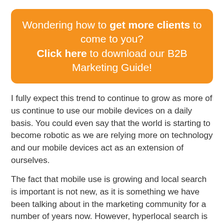Wondering how to get more clients to come to you? Click here to download our B2B Marketing Guide!
I fully expect this trend to continue to grow as more of us continue to use our mobile devices on a daily basis. You could even say that the world is starting to become robotic as we are relying more on technology and our mobile devices act as an extension of ourselves.
The fact that mobile use is growing and local search is important is not new, as it is something we have been talking about in the marketing community for a number of years now. However, hyperlocal search is a trend that has grown significantly over the last year or so.